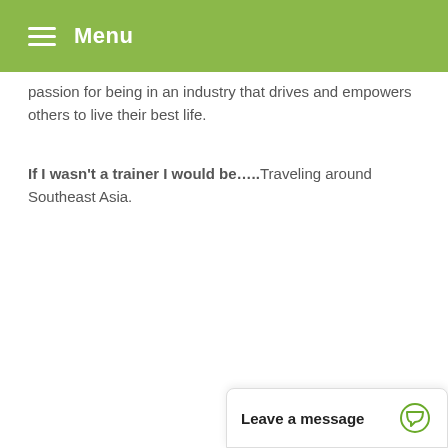Menu
passion for being in an industry that drives and empowers others to live their best life.
If I wasn't a trainer I would be…..Traveling around Southeast Asia.
Leave a message